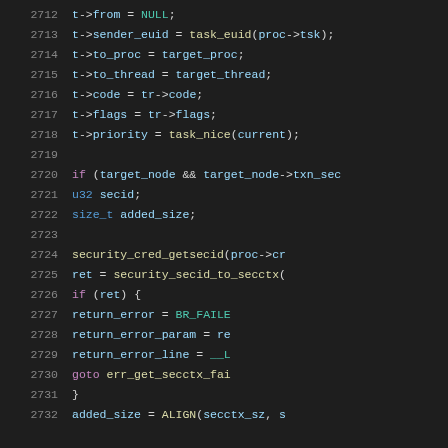Code listing lines 2712-2732, C source code showing binder transaction setup with security context handling